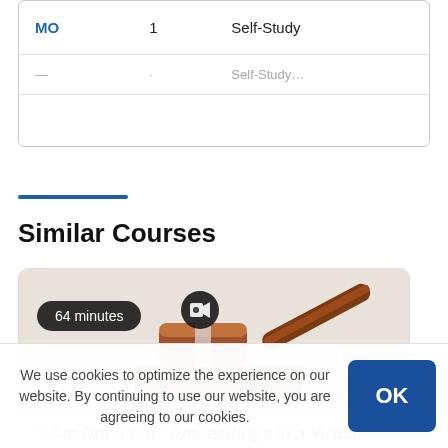| MO | 1 | Self-Study |
| … | · | Self-Study… |
Similar Courses
[Figure (photo): A wooden gavel on a sound block, photographed on a light grey background. Overlaid with a '64 minutes' badge and a video camera icon badge.]
"I Am Not a Cat" Proceedings in a Virtual World
We use cookies to optimize the experience on our website. By continuing to use our website, you are agreeing to our cookies.